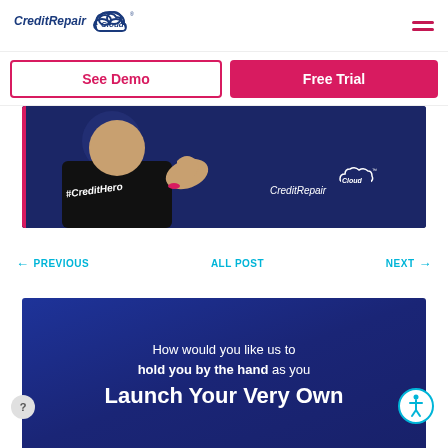[Figure (logo): CreditRepair Cloud logo with cloud icon in top left header]
See Demo
Free Trial
[Figure (photo): Dark navy blue promotional banner showing a man in a black CreditHero t-shirt pointing at camera with thumbs up, #CreditHero text visible, CreditRepair Cloud logo on right side]
← PREVIOUS
All POST
NEXT →
[Figure (infographic): Dark blue promotional banner with text: How would you like us to hold you by the hand as you Launch Your Very Own Credit Repair...]
How would you like us to hold you by the hand as you
Launch Your Very Own